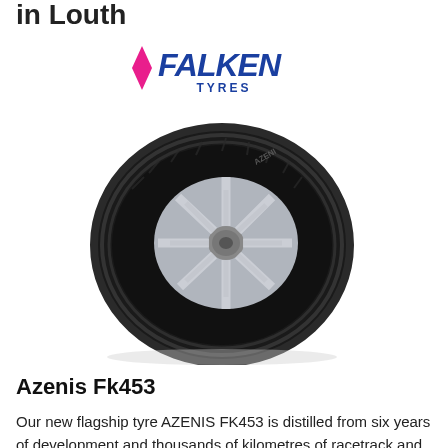in Louth
[Figure (logo): Falken Tyres logo — bold italic blue text 'FALKEN' with a pink/magenta chevron accent, and 'TYRES' in smaller blue text below]
[Figure (photo): Falken Azenis FK453 tyre on an alloy wheel, angled view showing tread and rim detail]
Azenis Fk453
Our new flagship tyre AZENIS FK453 is distilled from six years of development and thousands of kilometres of racetrack and